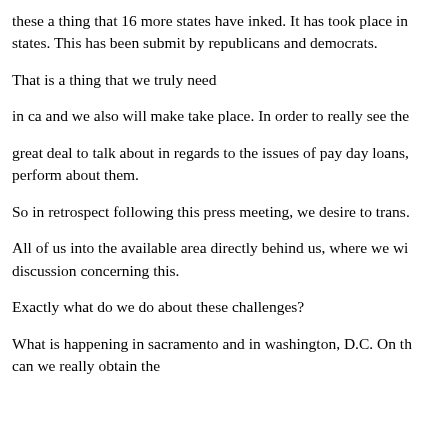these a thing that 16 more states have inked. It has took place in states. This has been submit by republicans and democrats.
That is a thing that we truly need
in ca and we also will make take place. In order to really see the
great deal to talk about in regards to the issues of pay day loans, perform about them.
So in retrospect following this press meeting, we desire to trans.
All of us into the available area directly behind us, where we wi discussion concerning this.
Exactly what do we do about these challenges?
What is happening in sacramento and in washington, D.C. On th can we really obtain the